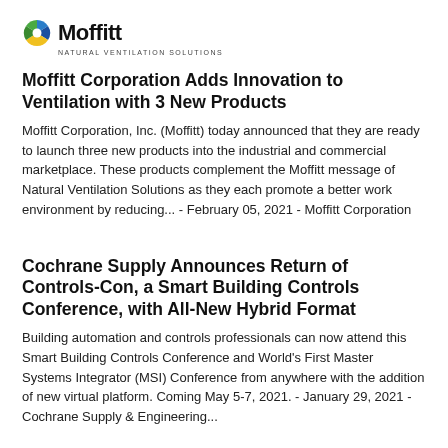[Figure (logo): Moffitt logo with colorful globe icon and text 'Moffitt' with tagline 'NATURAL VENTILATION SOLUTIONS']
Moffitt Corporation Adds Innovation to Ventilation with 3 New Products
Moffitt Corporation, Inc. (Moffitt) today announced that they are ready to launch three new products into the industrial and commercial marketplace. These products complement the Moffitt message of Natural Ventilation Solutions as they each promote a better work environment by reducing... - February 05, 2021 - Moffitt Corporation
Cochrane Supply Announces Return of Controls-Con, a Smart Building Controls Conference, with All-New Hybrid Format
Building automation and controls professionals can now attend this Smart Building Controls Conference and World's First Master Systems Integrator (MSI) Conference from anywhere with the addition of new virtual platform. Coming May 5-7, 2021. - January 29, 2021 - Cochrane Supply & Engineering...